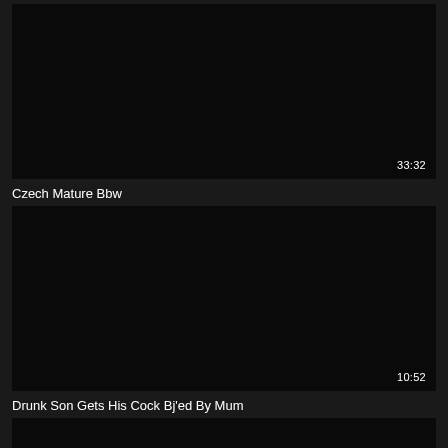[Figure (screenshot): Black video thumbnail with duration 33:32 in bottom right corner]
Czech Mature Bbw
[Figure (screenshot): Black video thumbnail with duration 10:52 in bottom right corner]
Drunk Son Gets His Cock Bj'ed By Mum
[Figure (screenshot): Black video thumbnail, partially visible at bottom of page]